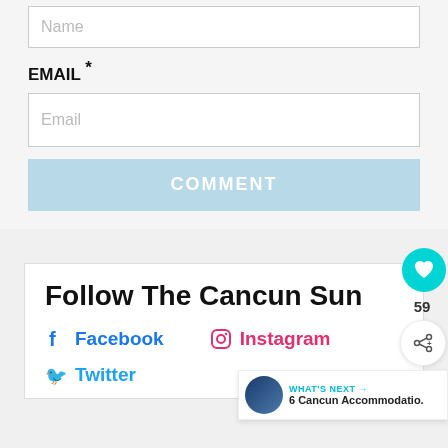Name
EMAIL *
Email
COMMENT
Follow The Cancun Sun
Facebook
Instagram
Twitter
59
WHAT'S NEXT → 6 Cancun Accommodatio.